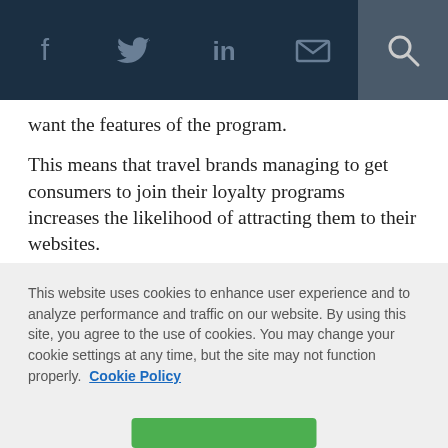[Navigation bar with social icons: Facebook, Twitter, LinkedIn, Email, Search]
want the features of the program.
This means that travel brands managing to get consumers to join their loyalty programs increases the likelihood of attracting them to their websites.
The research also shows loyalty members are likely to stick to the same brands when choosing travel product and they tend to be brand advocates as well.
However, half of loyalty members say they will book
This website uses cookies to enhance user experience and to analyze performance and traffic on our website. By using this site, you agree to the use of cookies. You may change your cookie settings at any time, but the site may not function properly.  Cookie Policy